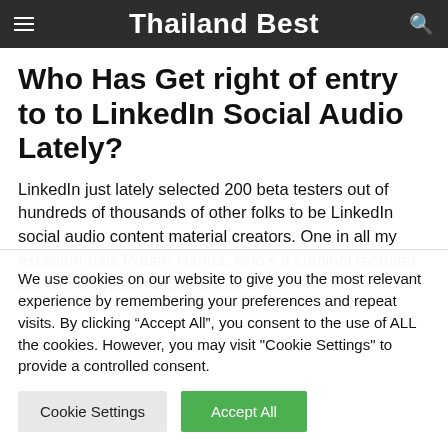Thailand Best
Who Has Get right of entry to to LinkedIn Social Audio Lately?
LinkedIn just lately selected 200 beta testers out of hundreds of thousands of other folks to be LinkedIn social audio content material creators. One in all my excellent pals Robert Hanna, who’s a criminal recruiter out of the United Kingdom was once
We use cookies on our website to give you the most relevant experience by remembering your preferences and repeat visits. By clicking “Accept All”, you consent to the use of ALL the cookies. However, you may visit "Cookie Settings" to provide a controlled consent.